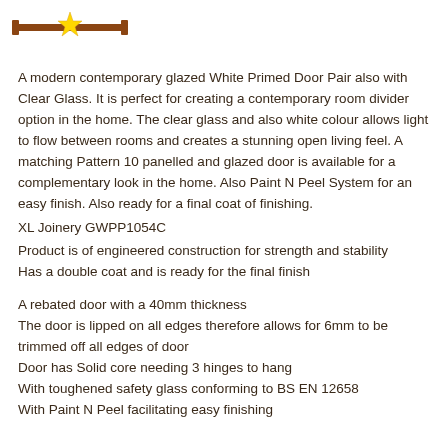[Figure (logo): Brown horizontal door/ruler logo with a yellow star/badge icon in the center]
A modern contemporary glazed White Primed Door Pair also with Clear Glass. It is perfect for creating a contemporary room divider option in the home. The clear glass and also white colour allows light to flow between rooms and creates a stunning open living feel. A matching Pattern 10 panelled and glazed door is available for a complementary look in the home. Also Paint N Peel System for an easy finish. Also ready for a final coat of finishing.
XL Joinery GWPP1054C
Product is of engineered construction for strength and stability
Has a double coat and is ready for the final finish
A rebated door with a 40mm thickness
The door is lipped on all edges therefore allows for 6mm to be trimmed off all edges of door
Door has Solid core needing 3 hinges to hang
With toughened safety glass conforming to BS EN 12658
With Paint N Peel facilitating easy finishing